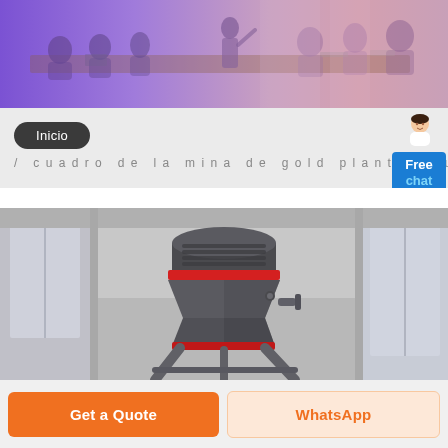[Figure (photo): Business meeting scene with people sitting around a conference table, overlaid with purple/violet gradient. A presenter stands at the far end pointing at something.]
Inicio
/ cuadro de la mina de gold plant savuka
[Figure (illustration): Small avatar of a female chat support agent in white blouse]
Free chat
[Figure (photo): Industrial cone crusher / mining machinery, large grey metal machine with red accent ring, photographed indoors in an industrial facility.]
Get a Quote
WhatsApp